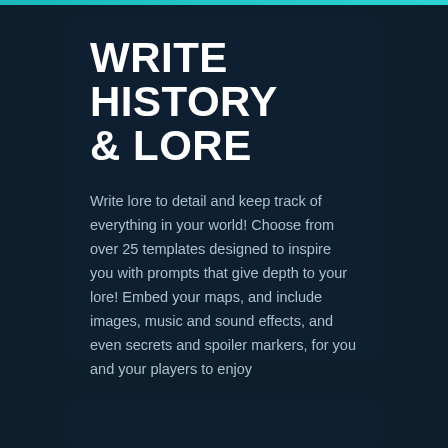WRITE HISTORY & LORE
Write lore to detail and keep track of everything in your world! Choose from over 25 templates designed to inspire you with prompts that give depth to your lore! Embed your maps, and include images, music and sound effects, and even secrets and spoiler markers, for you and your players to enjoy